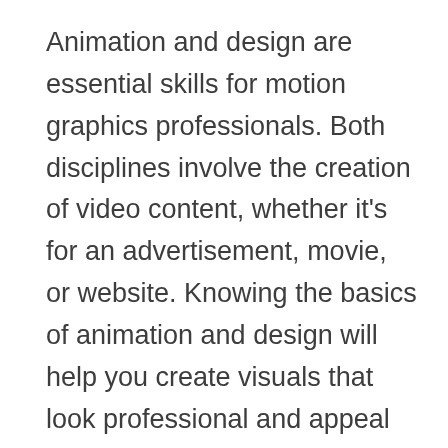Animation and design are essential skills for motion graphics professionals. Both disciplines involve the creation of video content, whether it's for an advertisement, movie, or website. Knowing the basics of animation and design will help you create visuals that look professional and appeal to a wide audience.
Animation is the process of making a moving image with pictures recorded on film or digital media. It can be used to create characters,